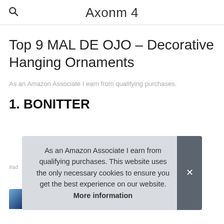Axonm 4
Top 9 MAL DE OJO – Decorative Hanging Ornaments
As an Amazon Associate I earn from qualifying purchases.
1. BONITTER
As an Amazon Associate I earn from qualifying purchases. This website uses the only necessary cookies to ensure you get the best experience on our website. More information